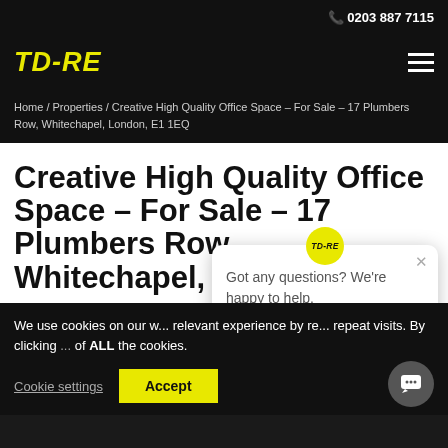0203 887 7115
TD-RE
Home / Properties / Creative High Quality Office Space – For Sale – 17 Plumbers Row, Whitechapel, London, E1 1EQ
Creative High Quality Office Space – For Sale – 17 Plumbers Row, Whitechapel, London, E1 1EQ
We use cookies on our w... relevant experience by re... repeat visits. By clicking ... of ALL the cookies.
Got any questions? We're happy to help.